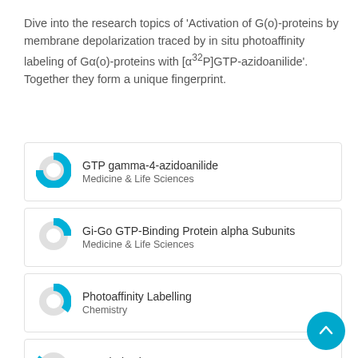Dive into the research topics of 'Activation of G(o)-proteins by membrane depolarization traced by in situ photoaffinity labeling of Gα(o)-proteins with [α32P]GTP-azidoanilide'. Together they form a unique fingerprint.
GTP gamma-4-azidoanilide | Medicine & Life Sciences
Gi-Go GTP-Binding Protein alpha Subunits | Medicine & Life Sciences
Photoaffinity Labelling | Chemistry
Depolarization | Chemistry
Voltage-Gated Sodium Channels | Medicine & Life Sciences